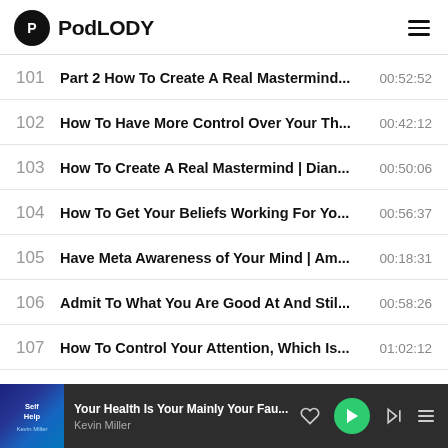PodLODY
101  Part 2 How To Create A Real Mastermind...  00:52:52
102  How To Have More Control Over Your Th...  00:42:12
103  How To Create A Real Mastermind | Dian...  00:50:06
104  How To Get Your Beliefs Working For Yo...  00:56:37
105  Have Meta Awareness of Your Mind | Am...  00:18:31
106  Admit To What You Are Good At And Stil...  00:58:26
107  How To Control Your Attention, Which Is...  01:02:12
108  Frequent Steps Beat Occasional Leaps  00:48:47
Your Health Is Your Mainly Your Fau... Kevin Miller